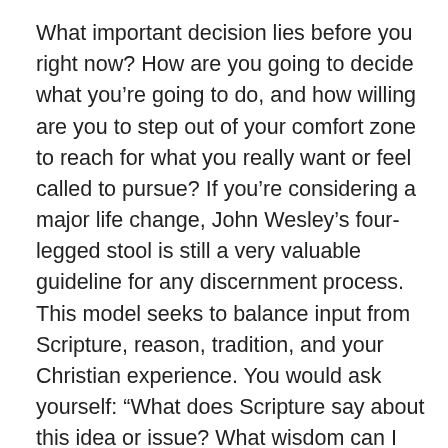What important decision lies before you right now? How are you going to decide what you're going to do, and how willing are you to step out of your comfort zone to reach for what you really want or feel called to pursue? If you're considering a major life change, John Wesley's four-legged stool is still a very valuable guideline for any discernment process. This model seeks to balance input from Scripture, reason, tradition, and your Christian experience. You would ask yourself: “What does Scripture say about this idea or issue? What wisdom can I draw from my elders and tradition? What makes sense when I think the matter all the way through? What have I learned from my experience that might inform me now, especially as it relates to trying to listen and cooperate with the Holy Spirit? [1] Then, without neglecting the standard guidelines, often you will still need to venture beyond what